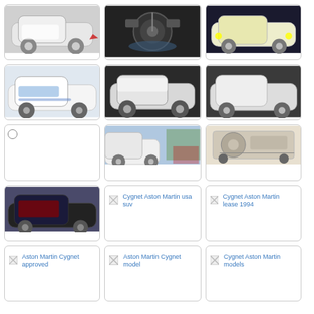[Figure (photo): White Aston Martin Cygnet small car, exterior front-side view]
[Figure (photo): Aston Martin Cygnet interior dashboard and steering wheel]
[Figure (photo): White/yellow Aston Martin Cygnet at night, exterior]
[Figure (photo): White Aston Martin Cygnet with blue accents, exterior side view]
[Figure (photo): Silver Aston Martin Cygnet at auto show, front-side]
[Figure (photo): Silver Aston Martin Cygnet at auto show, side view]
[Figure (other): Radio button / empty selection circle]
[Figure (photo): Aston Martin Cygnet at auto show with crowd behind]
[Figure (photo): Aston Martin Cygnet interior dashboard close-up]
[Figure (photo): Aston Martin Cygnet convertible/dark exterior at show]
[Figure (illustration): Broken image placeholder: Cygnet Aston Martin usa suv]
[Figure (illustration): Broken image placeholder: Cygnet Aston Martin lease 1994]
[Figure (illustration): Broken image placeholder: Aston Martin Cygnet approved]
[Figure (illustration): Broken image placeholder: Aston Martin Cygnet model]
[Figure (illustration): Broken image placeholder: Cygnet Aston Martin models]